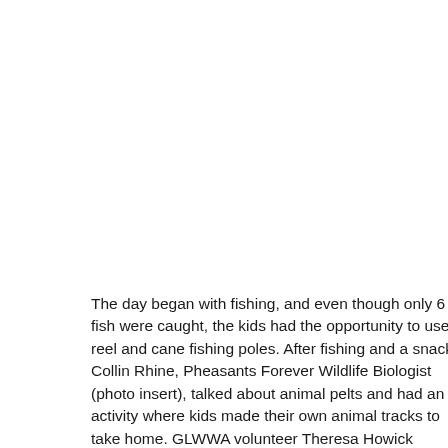The day began with fishing, and even though only 6 fish were caught, the kids had the opportunity to use reel and cane fishing poles. After fishing and a snack, Collin Rhine, Pheasants Forever Wildlife Biologist (photo insert), talked about animal pelts and had an activity where kids made their own animal tracks to take home. GLWWA volunteer Theresa Howick presented an activity on family, and two through the importance of family and